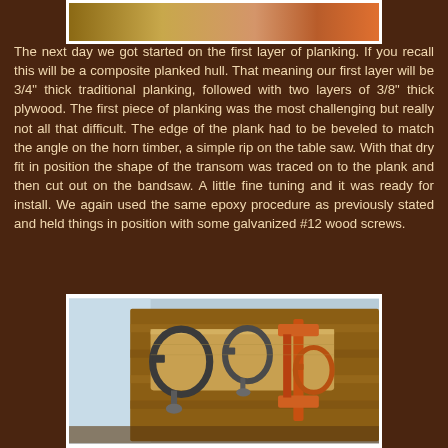[Figure (photo): Top portion of a photo showing wooden boat construction materials]
The next day we got started on the first layer of planking.  If you recall this will be a composite planked hull.  That meaning our first layer will be 3/4" thick traditional planking, followed with two layers of 3/8" thick plywood.  The first piece of planking was the most challenging but really not all that difficult.  The edge of the plank had to be beveled to match the angle on the horn timber, a simple rip on the table saw.  With that dry fit in position the shape of the transom was traced on to the plank and then cut out on the bandsaw.  A little fine tuning and it was ready for install.  We again used the same epoxy procedure as previously stated and held things in position with some galvanized #12 wood screws.
[Figure (photo): Photo of wooden boat planking with C-clamps and bar clamps holding planks in position during construction]